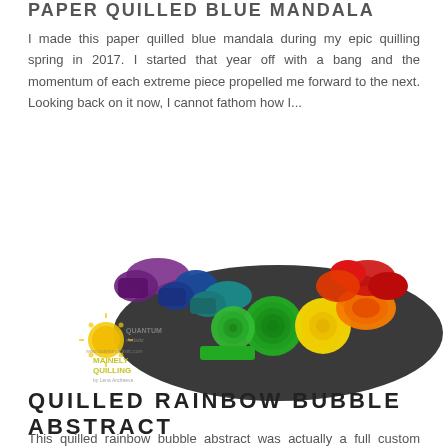PAPER QUILLED BLUE MANDALA
I made this paper quilled blue mandala during my epic quilling spring in 2017. I started that year off with a bang and the momentum of each extreme piece propelled me forward to the next. Looking back on it now, I cannot fathom how I...
[Figure (photo): A colorful paper quilled rainbow bubble abstract artwork arranged in a circular platter, featuring coiled and shaped paper strips in purple, blue, teal, green, yellow, orange, and red colors. A watermark logo for Quantum Artistic / Mainely Quilling is visible on the lower left.]
QUILLED RAINBOW BUBBLE ABSTRACT
This quilled rainbow bubble abstract was actually a full custom order that...